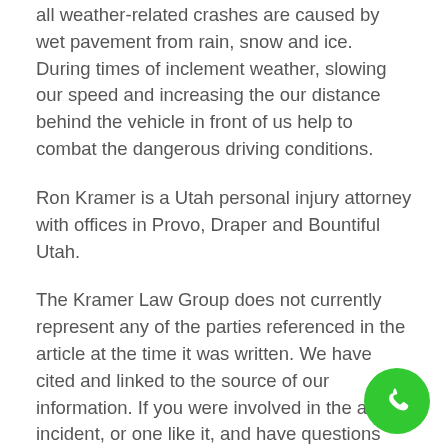all weather-related crashes are caused by wet pavement from rain, snow and ice. During times of inclement weather, slowing our speed and increasing the our distance behind the vehicle in front of us help to combat the dangerous driving conditions.
Ron Kramer is a Utah personal injury attorney with offices in Provo, Draper and Bountiful Utah.
The Kramer Law Group does not currently represent any of the parties referenced in the article at the time it was written. We have cited and linked to the source of our information. If you were involved in the above incident, or one like it, and have questions about your rights and possible remedies, you may call us or another reputable Utah personal injury law firm. Do not